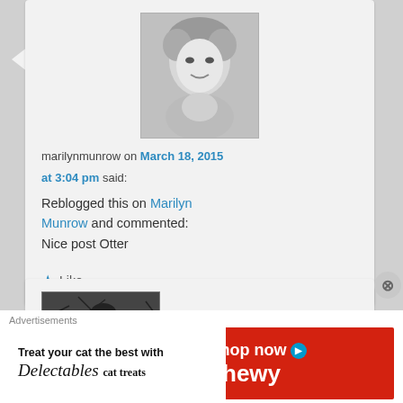[Figure (photo): Black and white photo of Marilyn Monroe style avatar]
marilynmunrow on March 18, 2015 at 3:04 pm said:
Reblogged this on Marilyn Munrow and commented:
Nice post Otter
★ Like
[Figure (photo): Black and white gothic avatar image, partially visible]
Advertisements
[Figure (other): Chewy advertisement: Treat your cat the best with Delectables cat treats. Shop now. Chewy.]